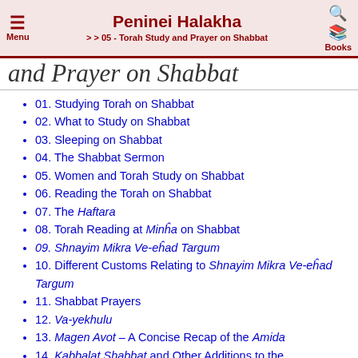Peninei Halakha >> 05 - Torah Study and Prayer on Shabbat
and Prayer on Shabbat
01. Studying Torah on Shabbat
02. What to Study on Shabbat
03. Sleeping on Shabbat
04. The Shabbat Sermon
05. Women and Torah Study on Shabbat
06. Reading the Torah on Shabbat
07. The Haftara
08. Torah Reading at Minha on Shabbat
09. Shnayim Mikra Ve-ehad Targum
10. Different Customs Relating to Shnayim Mikra Ve-ehad Targum
11. Shabbat Prayers
12. Va-yekhulu
13. Magen Avot – A Concise Recap of the Amida
14. Kabbalat Shabbat and Other Additions to the